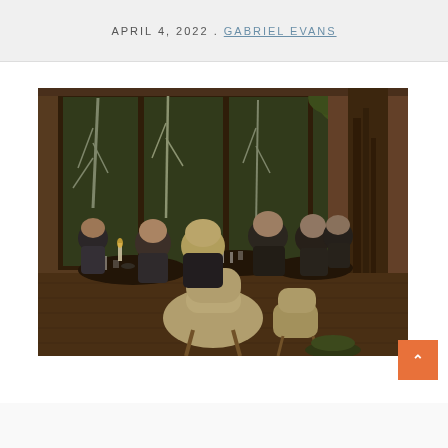APRIL 4, 2022 . GABRIEL EVANS
[Figure (photo): Interior of an upscale restaurant with large floor-to-ceiling windows overlooking trees. Several diners are seated at round tables with white tablecloths. A large tree trunk is visible in the foreground right. The lighting is warm and ambient. Beige/tan upholstered chairs are visible. People are engaged in conversation.]